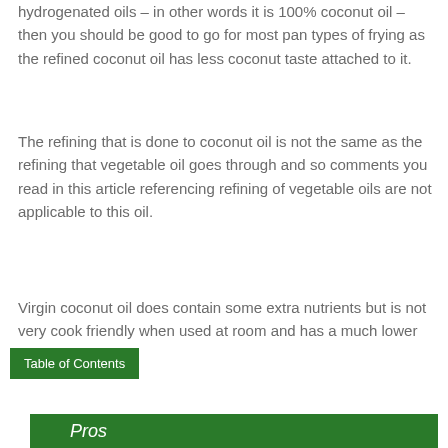hydrogenated oils – in other words it is 100% coconut oil – then you should be good to go for most pan types of frying as the refined coconut oil has less coconut taste attached to it.
The refining that is done to coconut oil is not the same as the refining that vegetable oil goes through and so comments you read in this article referencing refining of vegetable oils are not applicable to this oil.
Virgin coconut oil does contain some extra nutrients but is not very cook friendly when used at room and has a much lower smoke point.
Table of Contents
Pros